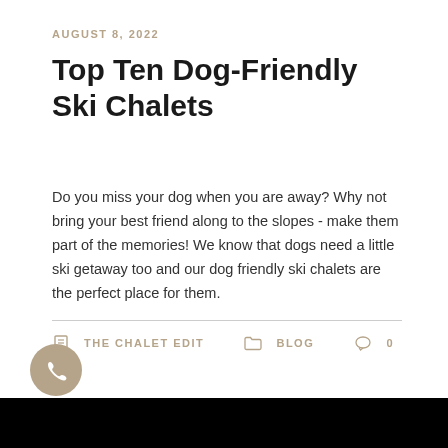AUGUST 8, 2022
Top Ten Dog-Friendly Ski Chalets
Do you miss your dog when you are away? Why not bring your best friend along to the slopes - make them part of the memories! We know that dogs need a little ski getaway too and our dog friendly ski chalets are the perfect place for them.
THE CHALET EDIT   BLOG   0